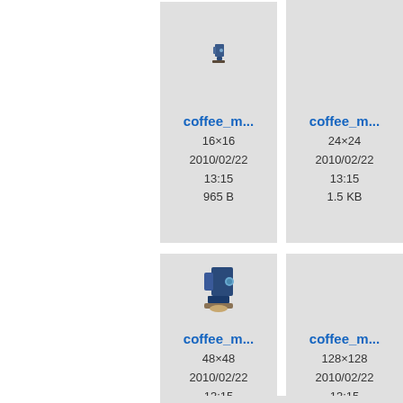[Figure (screenshot): File browser thumbnail grid showing coffee machine icon files at different resolutions. Row 1: coffee_m... 16x16 (965 B, 2010/02/22 13:15), coffee_m... 24x24 (1.5 KB, 2010/02/22 13:15), partial third card. Row 2: coffee_m... 48x48 (3.7 KB, 2010/02/22 13:15), coffee_m... 128x128 (15.5 KB, 2010/02/22 13:15), partial third card.]